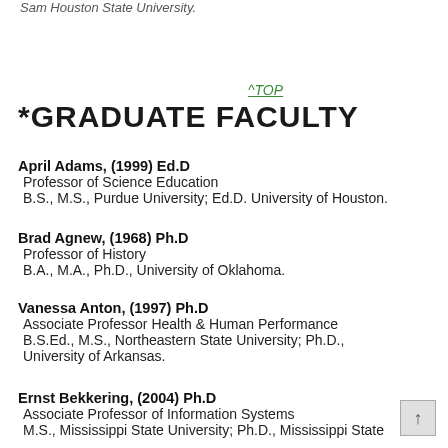Sam Houston State University.
^TOP
*GRADUATE FACULTY
April Adams, (1999) Ed.D
Professor of Science Education
B.S., M.S., Purdue University; Ed.D. University of Houston.
Brad Agnew, (1968) Ph.D
Professor of History
B.A., M.A., Ph.D., University of Oklahoma.
Vanessa Anton, (1997) Ph.D
Associate Professor Health & Human Performance
B.S.Ed., M.S., Northeastern State University; Ph.D., University of Arkansas.
Ernst Bekkering, (2004) Ph.D
Associate Professor of Information Systems
M.S., Mississippi State University; Ph.D., Mississippi State